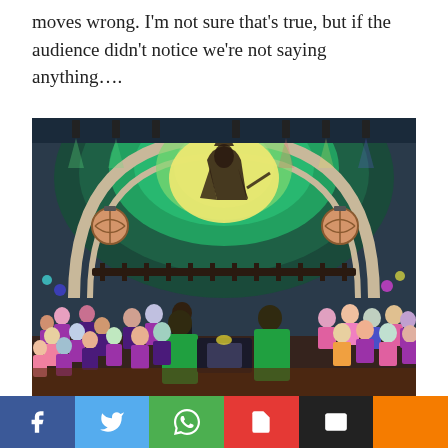moves wrong. I'm not sure that's true, but if the audience didn't notice we're not saying anything….
[Figure (photo): A large indoor concert hall or auditorium photographed from the audience perspective. The stage shows a large choir of people in purple and pink shirts arranged in a semicircle under a dramatic green-lit arched ceiling with a glowing silhouette projection of a figure. Two ornate globe light fixtures hang on either side. In the foreground, two performers in green stand with their backs to the camera.]
Social share bar: Facebook, Twitter, WhatsApp, PDF, Email, Plus